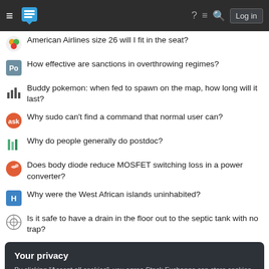Stack Exchange navigation bar with hamburger menu, logo, help, inbox, search, log in
American Airlines size 26 will I fit in the seat?
How effective are sanctions in overthrowing regimes?
Buddy pokemon: when fed to spawn on the map, how long will it last?
Why sudo can't find a command that normal user can?
Why do people generally do postdoc?
Does body diode reduce MOSFET switching loss in a power converter?
Why were the West African islands uninhabited?
Is it safe to have a drain in the floor out to the septic tank with no trap?
Your privacy
By clicking "Accept all cookies", you agree Stack Exchange can store cookies on your device and disclose information in accordance with our Cookie Policy.
Accept all cookies | Customize settings
Play a dumb coinflip game